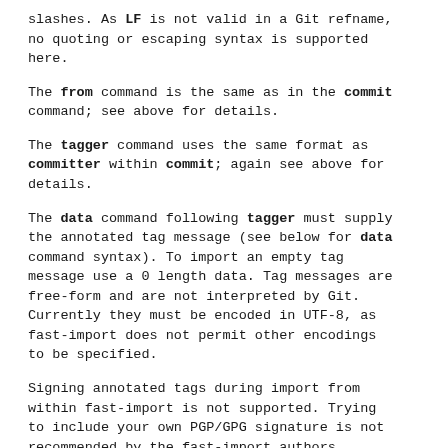slashes. As LF is not valid in a Git refname, no quoting or escaping syntax is supported here.
The from command is the same as in the commit command; see above for details.
The tagger command uses the same format as committer within commit; again see above for details.
The data command following tagger must supply the annotated tag message (see below for data command syntax). To import an empty tag message use a 0 length data. Tag messages are free-form and are not interpreted by Git. Currently they must be encoded in UTF-8, as fast-import does not permit other encodings to be specified.
Signing annotated tags during import from within fast-import is not supported. Trying to include your own PGP/GPG signature is not ...